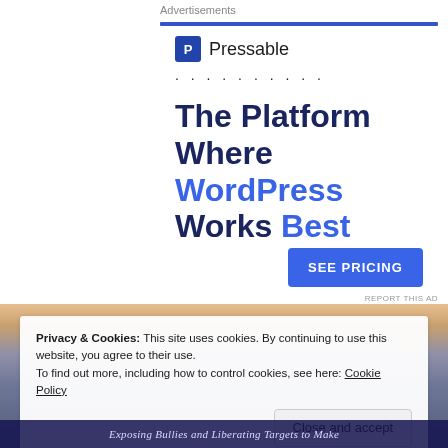Advertisements
[Figure (logo): Pressable logo with blue 'P' icon and dotted separator line]
The Platform Where WordPress Works Best
SEE PRICING
[Figure (photo): Ocean/beach sunset photo background]
Privacy & Cookies: This site uses cookies. By continuing to use this website, you agree to their use.
To find out more, including how to control cookies, see here: Cookie Policy
Close and accept
Exposing Bullies and Liberating Targets to Make